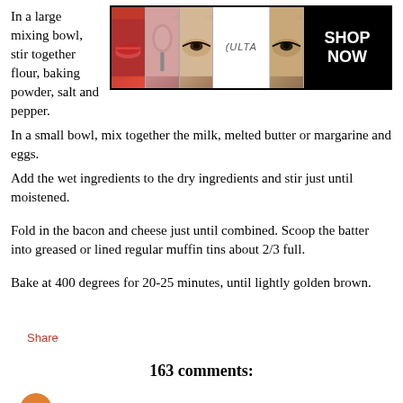In a large mixing bowl, stir together flour, baking powder, salt and pepper.
[Figure (photo): ULTA Beauty advertisement banner showing makeup-related images (lips, brush, eyes, ULTA logo) with SHOP NOW button]
In a small bowl, mix together the milk, melted butter or margarine and eggs.
Add the wet ingredients to the dry ingredients and stir just until moistened.
Fold in the bacon and cheese just until combined. Scoop the batter into greased or lined regular muffin tins about 2/3 full.
Bake at 400 degrees for 20-25 minutes, until lightly golden brown.
Share
163 comments:
Meg  Aug 23, 2010, 6:28:00 PM